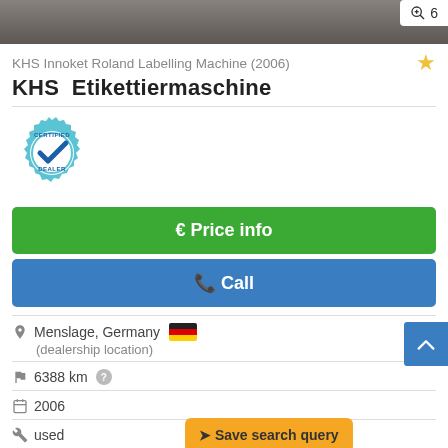[Figure (photo): Top portion of a machinery product photo, partially visible, showing industrial equipment in gray tones. Image counter showing magnifier icon and '6' in top right.]
KHS Innoket Roland Labelling Machine (2006)
KHS  Etikettiermaschine
[Figure (logo): Certified Dealer badge: circular teal gear-shaped badge with checkmark and text 'CERTIFIED DEALER']
€ Price info
✆ Call
Menslage, Germany 🇩🇪
(dealership location)
6388 km ?
2006
used
Save search query